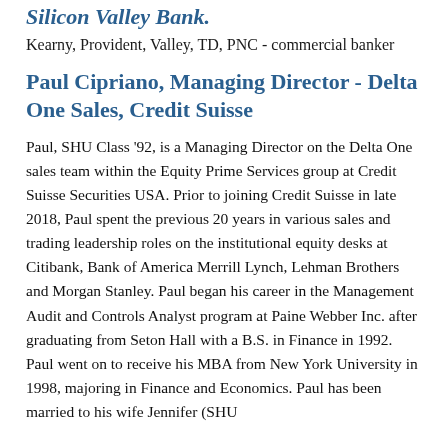Silicon Valley Bank
Kearny, Provident, Valley, TD, PNC - commercial banker
Paul Cipriano, Managing Director - Delta One Sales, Credit Suisse
Paul, SHU Class '92, is a Managing Director on the Delta One sales team within the Equity Prime Services group at Credit Suisse Securities USA. Prior to joining Credit Suisse in late 2018, Paul spent the previous 20 years in various sales and trading leadership roles on the institutional equity desks at Citibank, Bank of America Merrill Lynch, Lehman Brothers and Morgan Stanley. Paul began his career in the Management Audit and Controls Analyst program at Paine Webber Inc. after graduating from Seton Hall with a B.S. in Finance in 1992. Paul went on to receive his MBA from New York University in 1998, majoring in Finance and Economics. Paul has been married to his wife Jennifer (SHU